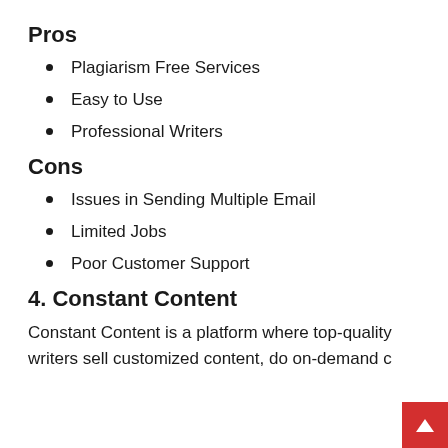Pros
Plagiarism Free Services
Easy to Use
Professional Writers
Cons
Issues in Sending Multiple Email
Limited Jobs
Poor Customer Support
4. Constant Content
Constant Content is a platform where top-quality writers sell customized content, do on-demand c…